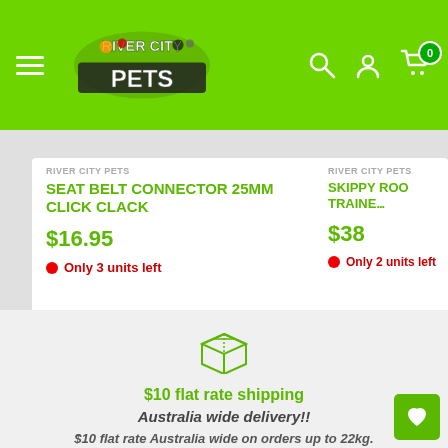[Figure (logo): River City Pets logo on green header bar with hamburger menu, search icon, account icon, and cart icon with 0 badge]
RIVER CITY PETS
SEAT BELT CONNECTOR 25MM CLICK CLACK
$16.95
Only 3 units left
RIVER CITY PETS
SKIPPY ROO TRAINE...
$38
Only 2 units left
[Figure (illustration): Green outline box/package shipping icon]
$10 flat rate shipping
Australia wide delivery!!
$10 flat rate Australia wide on orders up to 22kg.
Free click and collect. -No minimum order.